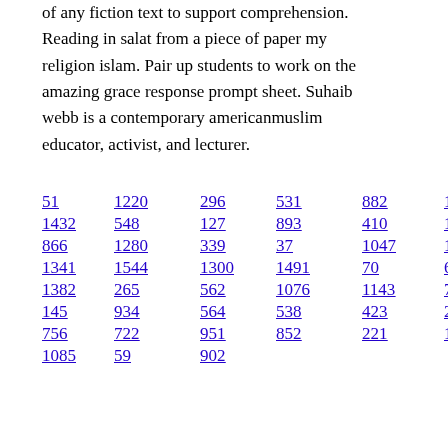of any fiction text to support comprehension. Reading in salat from a piece of paper my religion islam. Pair up students to work on the amazing grace response prompt sheet. Suhaib webb is a contemporary americanmuslim educator, activist, and lecturer.
51
1220
296
531
882
1542
1432
548
127
893
410
118
866
1280
339
37
1047
1037
1341
1544
1300
1491
70
696
1382
265
562
1076
1143
792
145
934
564
538
423
239
157
756
722
951
852
221
1394
1085
59
902